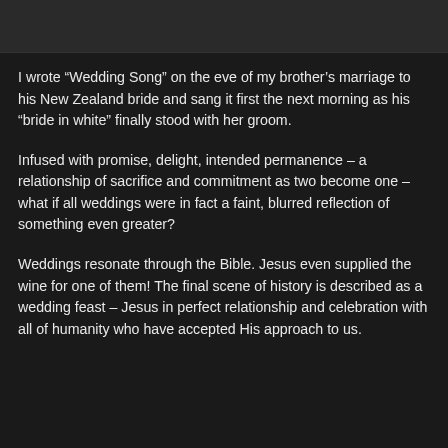[Figure (photo): Dark image bar at the top of the page]
I wrote “Wedding Song” on the eve of my brother’s marriage to his New Zealand bride and sang it first the next morning as his “bride in white” finally stood with her groom.
Infused with promise, delight, intended permanence – a relationship of sacrifice and commitment as two become one – what if all weddings were in fact a faint, blurred reflection of something even greater?
Weddings resonate through the Bible. Jesus even supplied the wine for one of them! The final scene of history is described as a wedding feast – Jesus in perfect relationship and celebration with all of humanity who have accepted His approach to us.